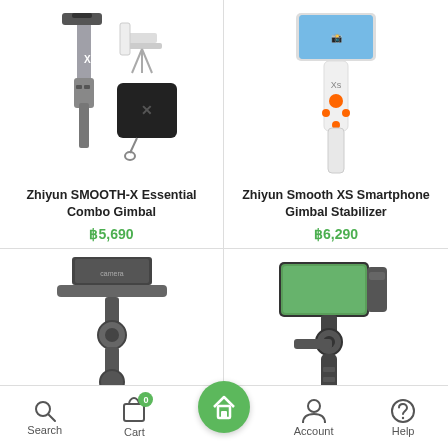[Figure (photo): Zhiyun SMOOTH-X Essential Combo Gimbal product image showing gimbal with accessories and case]
Zhiyun SMOOTH-X Essential Combo Gimbal
฿5,690
[Figure (photo): Zhiyun Smooth XS Smartphone Gimbal Stabilizer product image showing white gimbal with orange buttons]
Zhiyun Smooth XS Smartphone Gimbal Stabilizer
฿6,290
[Figure (photo): Gimbal stabilizer product image (bottom left) showing a 3-axis handheld gimbal in dark grey]
[Figure (photo): Gimbal stabilizer product image (bottom right) showing a 3-axis handheld gimbal with smartphone mounted]
Search  Cart  Home  Account  Help